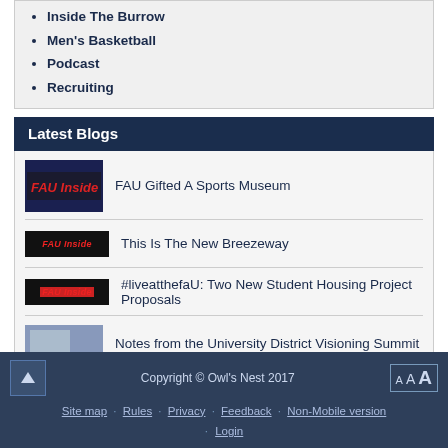Inside The Burrow
Men's Basketball
Podcast
Recruiting
Latest Blogs
FAU Gifted A Sports Museum
This Is The New Breezeway
#liveatthefaU: Two New Student Housing Project Proposals
Notes from the University District Visioning Summit Repor...
More on The Schmidt
Copyright © Owl's Nest 2017 · Site map · Rules · Privacy · Feedback · Non-Mobile version · Login